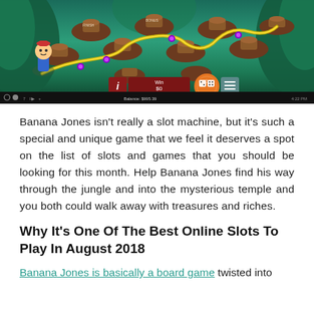[Figure (screenshot): Screenshot of Banana Jones game showing a jungle board game with a character, snaking paths, lily pads, and a game UI overlay with Win $0, Dice Roll 0/5, spin button, and video controls bar at bottom.]
Banana Jones isn't really a slot machine, but it's such a special and unique game that we feel it deserves a spot on the list of slots and games that you should be looking for this month. Help Banana Jones find his way through the jungle and into the mysterious temple and you both could walk away with treasures and riches.
Why It's One Of The Best Online Slots To Play In August 2018
Banana Jones is basically a board game twisted into